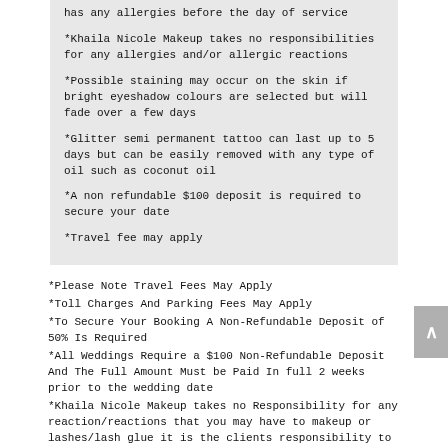has any allergies before the day of service
*Khaila Nicole Makeup takes no responsibilities for any allergies and/or allergic reactions
*Possible staining may occur on the skin if bright eyeshadow colours are selected but will fade over a few days
*Glitter semi permanent tattoo can last up to 5 days but can be easily removed with any type of oil such as coconut oil
*A non refundable $100 deposit is required to secure your date
*Travel fee may apply
*Please Note Travel Fees May Apply
*Toll Charges And Parking Fees May Apply
*To Secure Your Booking A Non-Refundable Deposit of 50% Is Required
*All Weddings Require a $100 Non-Refundable Deposit And The Full Amount Must be Paid In full 2 weeks prior to the wedding date
*Khaila Nicole Makeup takes no Responsibility for any reaction/reactions that you may have to makeup or lashes/lash glue it is the clients responsibility to let Khaila Nicole Makeup know if you have any allergies.